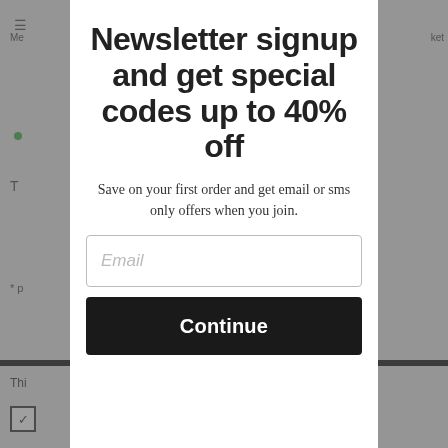Newsletter signup and get special codes up to 40% off
Save on your first order and get email or sms only offers when you join.
[Figure (screenshot): Email input field with placeholder text 'Email' and a black 'Continue' button below it, inside a newsletter signup modal popup overlay.]